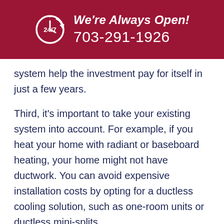We're Always Open! 703-291-1926
system help the investment pay for itself in just a few years.
Third, it's important to take your existing system into account. For example, if you heat your home with radiant or baseboard heating, your home might not have ductwork. You can avoid expensive installation costs by opting for a ductless cooling solution, such as one-room units or ductless mini-splits.
All of these decisions may seem overwhelming, but the...